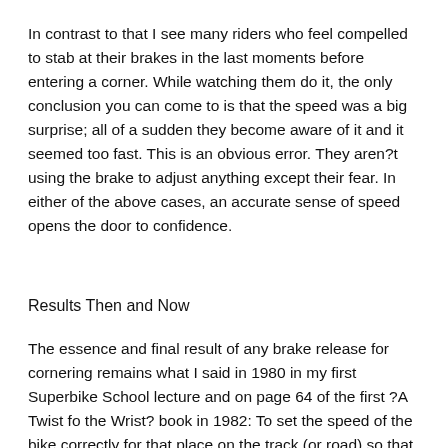In contrast to that I see many riders who feel compelled to stab at their brakes in the last moments before entering a corner. While watching them do it, the only conclusion you can come to is that the speed was a big surprise; all of a sudden they become aware of it and it seemed too fast. This is an obvious error. They aren?t using the brake to adjust anything except their fear. In either of the above cases, an accurate sense of speed opens the door to confidence.
Results Then and Now
The essence and final result of any brake release for cornering remains what I said in 1980 in my first Superbike School lecture and on page 64 of the first ?A Twist fo the Wrist? book in 1982: To set the speed of the bike correctly for that place on the track (or road) so that no further changes are necessary. In other words, you get it right. Not too fast, not too slow.
Braking itself is an art within the art of cornering. Your sense-of-